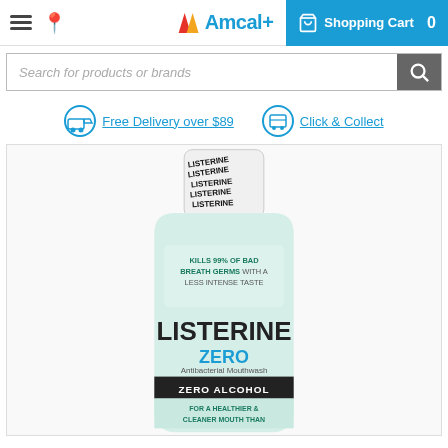Amcal+ Shopping Cart 0
Search for products or brands
Free Delivery over $89   Click & Collect
[Figure (photo): Listerine Zero Antibacterial Mouthwash bottle with cap. The bottle is light mint/teal colored. Text on bottle reads: KILLS 99% OF BAD BREATH GERMS WITH A LESS INTENSE TASTE. LISTERINE ZERO Antibacterial Mouthwash ZERO ALCOHOL FOR A HEALTHIER & CLEANER MOUTH THAN.]